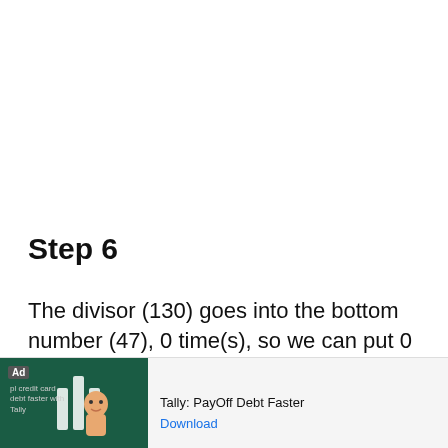Step 6
The divisor (130) goes into the bottom number (47), 0 time(s), so we can put 0 on top:
[Figure (other): Advertisement banner for Tally: PayOff Debt Faster app with green background, cartoon character, and download link]